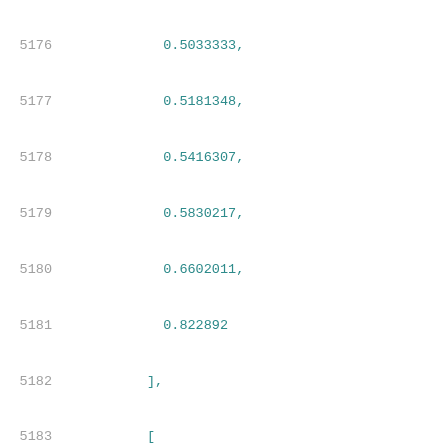Code listing lines 5176-5197 showing JSON/array data with line numbers. Values include floating point numbers: 0.5033333, 0.5181348, 0.5416307, 0.5830217, 0.6602011, 0.822892 in first array; 0.7720969, 0.7790907, 0.7930312, 0.8174359, 0.8611919, 0.9405734, 1.103743 in second array; followed by cell_rise,del_1_7_7 object with index_1 array starting with 0.01, 0.0230506